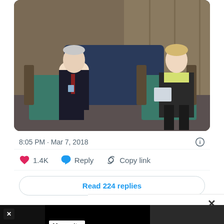[Figure (screenshot): Screenshot of a Twitter/X post showing a photo of two people in an interview setting — an older man in a dark suit with a red tie seated on the left, and a woman with short blonde hair in a black outfit seated on the right, in a room with wood-paneled walls and teal chairs]
8:05 PM · Mar 7, 2018
1.4K   Reply   Copy link
Read 224 replies
[Figure (screenshot): Bottom portion of screen showing a popup close button (×) and a secondary card with a black background showing partial text 'Mosquito']